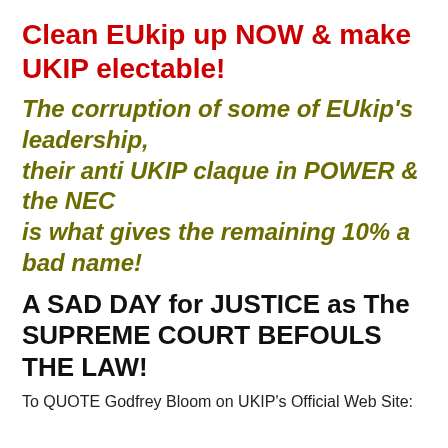Clean EUkip up NOW  &  make UKIP electable!
The corruption of some of EUkip's leadership, their anti UKIP claque in POWER &  the NEC is what gives the remaining 10% a bad name!
A SAD DAY for JUSTICE as The SUPREME COURT BEFOULS THE LAW!
To QUOTE Godfrey Bloom on UKIP's Official Web Site: